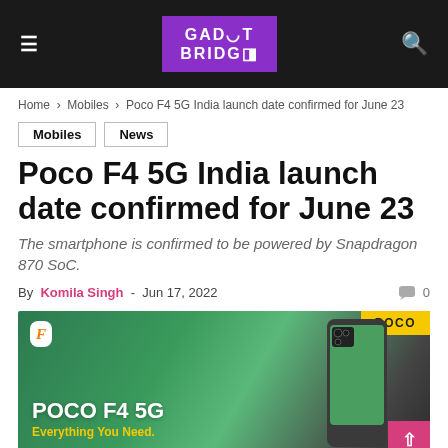GADGET BRIDGE
Home > Mobiles > Poco F4 5G India launch date confirmed for June 23
Mobiles
News
Poco F4 5G India launch date confirmed for June 23
The smartphone is confirmed to be powered by Snapdragon 870 SoC.
By Komila Singh - Jun 17, 2022  0
[Figure (photo): POCO F4 5G promotional banner on Flipkart showing the smartphone with text 'POCO F4 5G Everything You Need.' on a green gradient background with POCO badge]